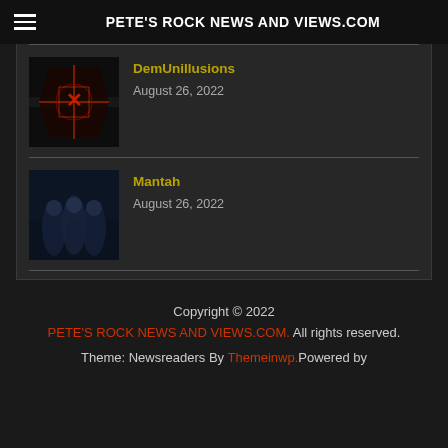PETE'S ROCK NEWS AND VIEWS.COM
DemUnillusions
August 26, 2022
Mantah
August 26, 2022
Copyright © 2022 PETE'S ROCK NEWS AND VIEWS.COM. All rights reserved. Theme: Newsreaders By Themeinwp. Powered by